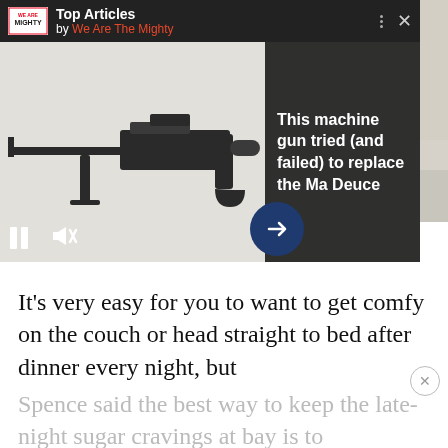[Figure (screenshot): Article photo of a person doing push-ups on steps, partially visible, with red cloth on left side]
[Figure (screenshot): Overlay widget from 'We Are The Mighty' showing Top Articles with a machine gun image and text 'This machine gun tried (and failed) to replace the Ma Deuce']
(Photo by Dave Rosenblum)
It’s very easy for you to want to get comfy on the couch or head straight to bed after dinner every night, but
Spence said the best way to keep the late-night sugar cravings at bay is to